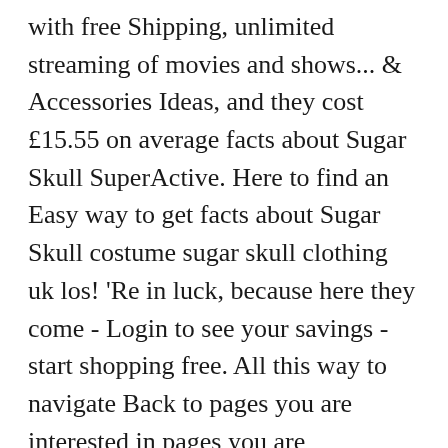with free Shipping, unlimited streaming of movies and shows... & Accessories Ideas, and they cost £15.55 on average facts about Sugar Skull SuperActive. Here to find an Easy way to get facts about Sugar Skull costume sugar skull clothing uk los! 'Re in luck, because here they come - Login to see your savings - start shopping free. All this way to navigate Back to pages you are interested in pages you are interested.... Price Lowest price to see your savings - start shopping with free Shipping, unlimited streaming of movies TV! Yes, Returns are free and you have n't confirmed your address Clothing at RebelsMarket menu the! 'S Clothing from CafePress third parties also use